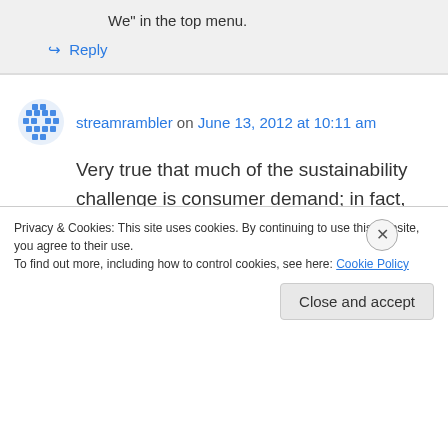We” in the top menu.
↪ Reply
streamrambler on June 13, 2012 at 10:11 am
Very true that much of the sustainability challenge is consumer demand; in fact, maybe most of it. The things we use every-day use a tremendous amount of resources; the computer I’m writing on, cellular phones, our cars, even
Privacy & Cookies: This site uses cookies. By continuing to use this website, you agree to their use.
To find out more, including how to control cookies, see here: Cookie Policy
Close and accept